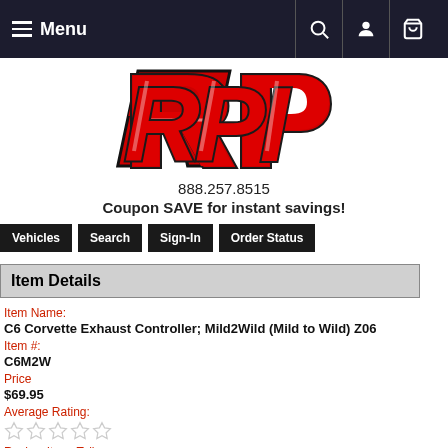Menu | Search | Account | Cart
[Figure (logo): RPI logo in red and black italic lettering]
888.257.8515
Coupon SAVE for instant savings!
Vehicles | Search | Sign-In | Order Status
Item Details
Item Name:
C6 Corvette Exhaust Controller; Mild2Wild (Mild to Wild) Z06
Item #:
C6M2W
Price
$69.95
Average Rating:
Review Item: Tell...